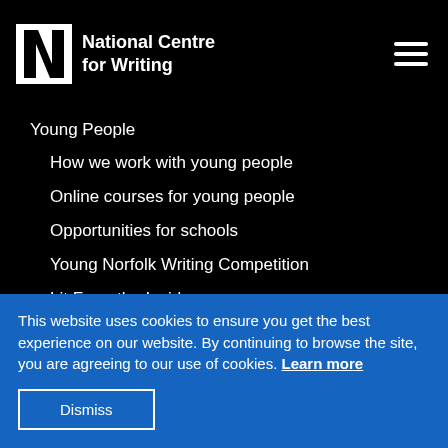National Centre for Writing
Young People
How we work with young people
Online courses for young people
Opportunities for schools
Young Norfolk Writing Competition
Lit From the Inside
Storytelling tips for busy parents
Artsmark
This website uses cookies to ensure you get the best experience on our website. By continuing to browse the site, you are agreeing to our use of cookies. Learn more
Dismiss